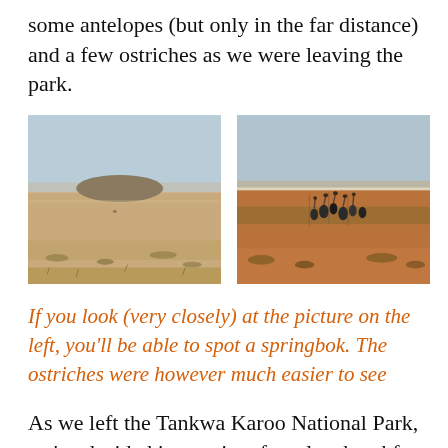some antelopes (but only in the far distance) and a few ostriches as we were leaving the park.
[Figure (photo): Flat semi-arid landscape (Tankwa Karoo) with a small hill on the horizon, sparse dry vegetation, pale blue sky. A springbok is barely visible in the far distance.]
[Figure (photo): Semi-arid Karoo landscape with red/orange sandy ground, dry scrub vegetation, and a group of ostriches visible in the middle distance under a pale blue sky.]
If you look (very closely) at the picture on the left, you'll be able to spot a springbok. The ostriches were however much easier to see
As we left the Tankwa Karoo National Park, we've decided it was time for a late breakfast